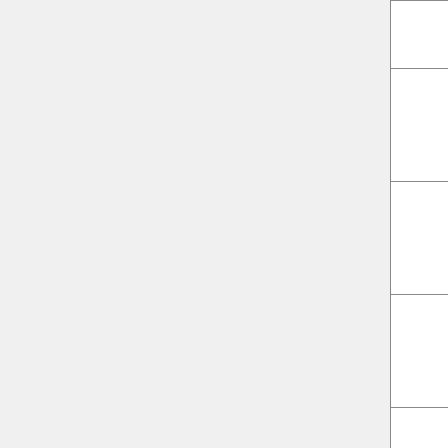| Device | Date | Version A | Version B |
| --- | --- | --- | --- |
|  | 2008 | 122 | 22... |
| IPdio Clock | Sep 2008 | v257-a-756-a-168 | v58...-950-18... |
| Jaycar YN8069 |  | v257-a-297-a-015 | v58...-340-01... |
| Jaycar YN8079 |  | v257-a-421-a-036 | v58...-516-04... |
| Logik IR100 | Apr 2008 | 257-a-615-a-087 | v58...-516-07... |
| Logik IRMA1 | Nov 2007 | 257-a-421-a-057 | v58...-516-07... |
|  |  |  |  |